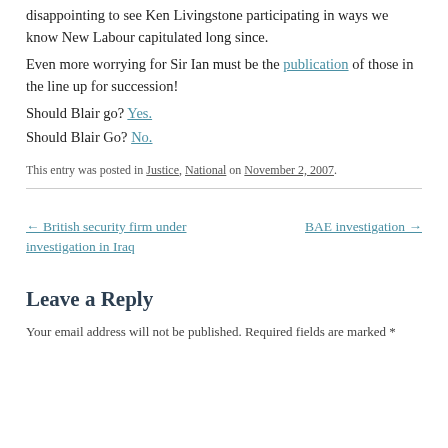disappointing to see Ken Livingstone participating in ways we know New Labour capitulated long since.
Even more worrying for Sir Ian must be the publication of those in the line up for succession!
Should Blair go? Yes.
Should Blair Go? No.
This entry was posted in Justice, National on November 2, 2007.
← British security firm under investigation in Iraq
BAE investigation →
Leave a Reply
Your email address will not be published. Required fields are marked *